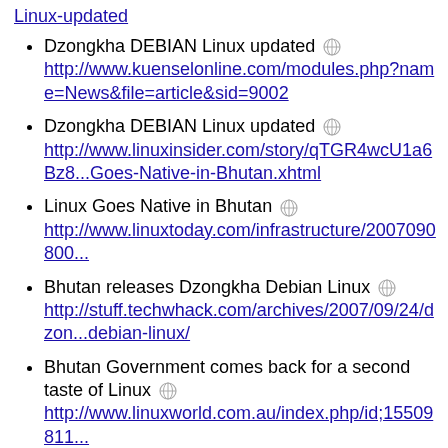Linux-updated
Dzongkha DEBIAN Linux updated http://www.kuenselonline.com/modules.php?name=News&file=article&sid=9002
Dzongkha DEBIAN Linux updated http://www.linuxinsider.com/story/qTGR4wcU1a6Bz8...Goes-Native-in-Bhutan.xhtml
Linux Goes Native in Bhutan http://www.linuxtoday.com/infrastructure/2007090800...
Bhutan releases Dzongkha Debian Linux http://stuff.techwhack.com/archives/2007/09/24/dzon...debian-linux/
Bhutan Government comes back for a second taste of Linux http://www.linuxworld.com.au/index.php/id;15509811...
Bhutan Deploys Linux http://news.yahoo.com/s/pcworld/20070924/tc_pcwo...